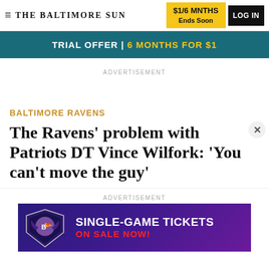THE BALTIMORE SUN | $1/6 MNTHS Ends Soon | LOG IN
TRIAL OFFER | 6 months for $1
ADVERTISEMENT
BALTIMORE RAVENS
The Ravens' problem with Patriots DT Vince Wilfork: 'You can't move the guy'
ADVERTISEMENT
[Figure (other): Baltimore Ravens Single-Game Tickets On Sale Now advertisement banner with Ravens logo]